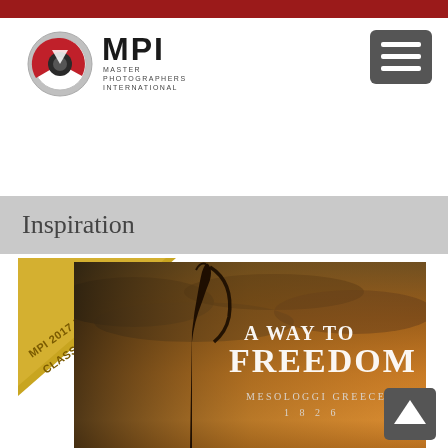[Figure (logo): MPI Master Photographers International logo with red circular camera lens icon and text]
[Figure (other): Dark grey hamburger menu button with three white horizontal lines]
Inspiration
[Figure (other): Gold triangular corner award badge reading MPI 2017 IIC CLASS AWARD]
[Figure (photo): Book cover image titled A WAY TO FREEDOM, MESOLOGGI GREECE 1826, with dramatic golden-orange cloudy sky and silhouetted figure with sword]
[Figure (other): Dark grey scroll-to-top button with upward arrow]